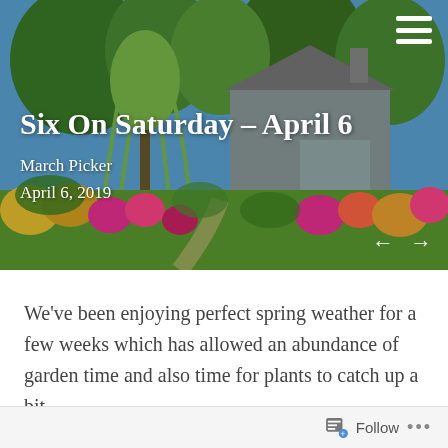[Figure (photo): Header photo of a garden with a house, lush trees and colorful flowering plants, used as hero image for a blog post titled Six On Saturday – April 6]
Six On Saturday – April 6
March Picker
April 6, 2019
We've been enjoying perfect spring weather for a few weeks which has allowed an abundance of garden time and also time for plants to catch up a bit